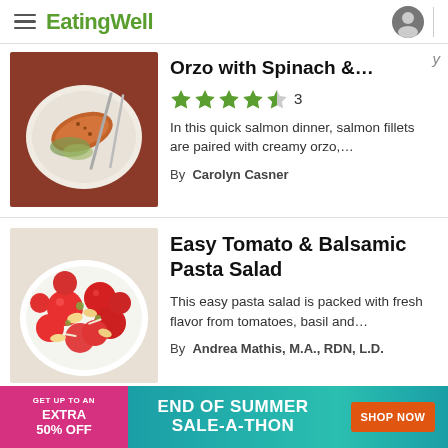EatingWell
Orzo with Spinach &…
In this quick salmon dinner, salmon fillets are paired with creamy orzo,...
By Carolyn Casner
Easy Tomato & Balsamic Pasta Salad
This easy pasta salad is packed with fresh flavor from tomatoes, basil and...
By Andrea Mathis, M.A., RDN, L.D.
[Figure (infographic): Advertisement banner: GET UP TO AN EXTRA 50% OFF — END OF SUMMER SALE-A-THON — SHOP NOW]